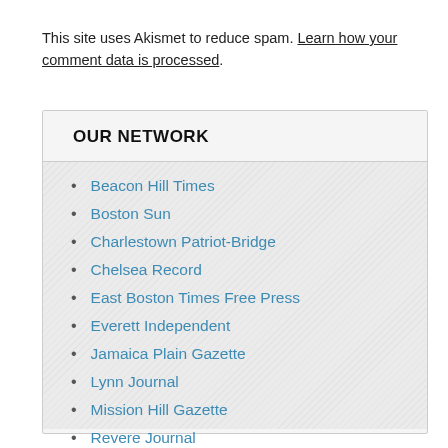This site uses Akismet to reduce spam. Learn how your comment data is processed.
OUR NETWORK
Beacon Hill Times
Boston Sun
Charlestown Patriot-Bridge
Chelsea Record
East Boston Times Free Press
Everett Independent
Jamaica Plain Gazette
Lynn Journal
Mission Hill Gazette
Revere Journal
Winthrop Sun Transcript